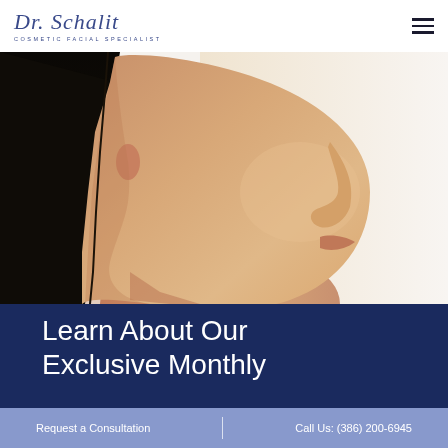[Figure (logo): Dr. Schalit Cosmetic Facial Specialist logo with cursive script and subtitle text]
[Figure (photo): Side profile of a woman with smooth skin and dark hair against white background, showcasing facial cosmetic results]
Learn About Our Exclusive Monthly
Request a Consultation | Call Us: (386) 200-6945